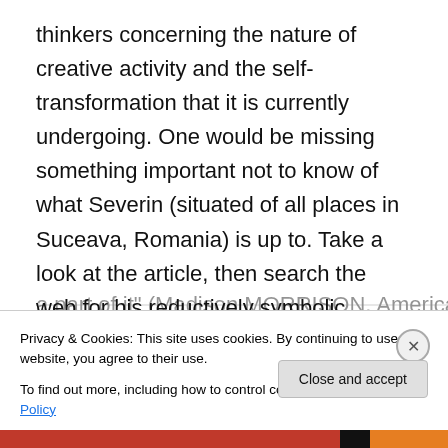thinkers concerning the nature of creative activity and the self-transformation that it is currently undergoing. One would be missing something important not to know of what Severin (situated of all places in Suceava, Romania) is up to. Take a look at the article, then search the web for his reductively symbolic paintings, which are on the verge of forging a new post-modern vocabulary from modernist precedent and nativist tradition. As western Europe declines, esthetically, morally, politically, something apparently is happening in Eastern Europe, and Severin is a part of it" (Madison MORRISON, American writer)
Privacy & Cookies: This site uses cookies. By continuing to use this website, you agree to their use.
To find out more, including how to control cookies, see here: Cookie Policy